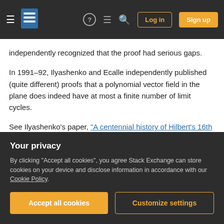Stack Exchange navigation bar with Log in and Sign up buttons
independently recognized that the proof had serious gaps.
In 1991–92, Ilyashenko and Ecalle independently published (quite different) proofs that a polynomial vector field in the plane does indeed have at most a finite number of limit cycles.
See Ilyashenko's paper, "A centennial history of Hilbert's 16th problem".
(Many related questions remain unsolved, such as
Your privacy
By clicking "Accept all cookies", you agree Stack Exchange can store cookies on your device and disclose information in accordance with our Cookie Policy.